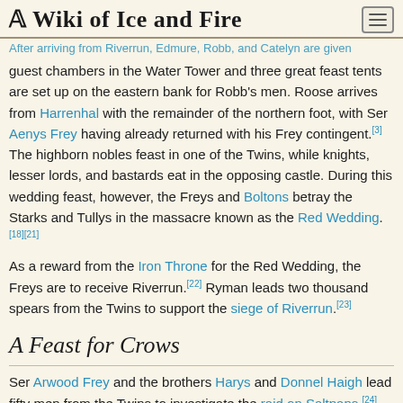A Wiki of Ice and Fire
After arriving from Riverrun, Edmure, Robb, and Catelyn are given guest chambers in the Water Tower and three great feast tents are set up on the eastern bank for Robb's men. Roose arrives from Harrenhal with the remainder of the northern foot, with Ser Aenys Frey having already returned with his Frey contingent.[3] The highborn nobles feast in one of the Twins, while knights, lesser lords, and bastards eat in the opposing castle. During this wedding feast, however, the Freys and Boltons betray the Starks and Tullys in the massacre known as the Red Wedding.[18][21]
As a reward from the Iron Throne for the Red Wedding, the Freys are to receive Riverrun.[22] Ryman leads two thousand spears from the Twins to support the siege of Riverrun.[23]
A Feast for Crows
Ser Arwood Frey and the brothers Harys and Donnel Haigh lead fifty men from the Twins to investigate the raid on Saltpans.[24] Lord Walder sends men to hunt the Hound.[25]
Ryman's tent outside Riverrun is decorated to resemble the Twins.[26] While riding back to the Twins from Riverrun, Ryman and